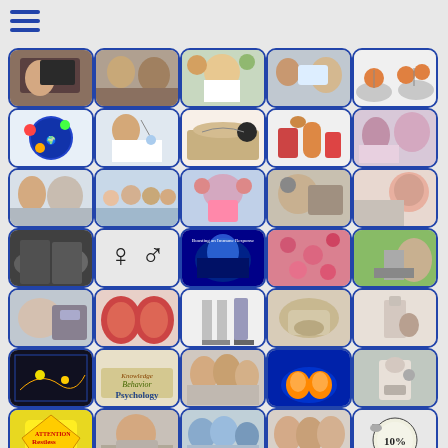[Figure (photo): Grid of medical/health related thumbnail images including doctors, patients, anatomy, psychology, and healthcare topics]
[Figure (other): Hamburger menu icon in top left corner]